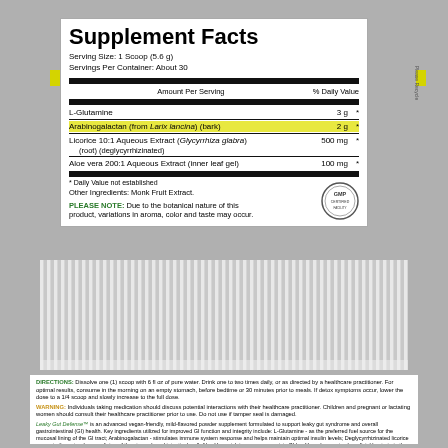Supplement Facts
Serving Size: 1 Scoop (5.6 g)
Servings Per Container: About 30
|  | Amount Per Serving | % Daily Value |
| --- | --- | --- |
| L-Glutamine | 3 g | * |
| Arabinogalactan (from Larix lancina) (bark) | 2 g | * |
| Licorice 10:1 Aqueous Extract (Glycyrrhiza glabra) (root) (deglycyrrhizinated) | 500 mg | * |
| Aloe vera 200:1 Aqueous Extract (inner leaf gel) | 100 mg | * |
* Daily Value not established
Other Ingredients: Monk Fruit Extract.
PLEASE NOTE: Due to the botanical nature of this product, variations in aroma, color and taste may occur.
[Figure (illustration): GMP certified badge/seal]
DIRECTIONS: Dissolve one (1) scoop with 6 fl oz of pure water. Drink one to two times daily, or as directed by a healthcare practitioner. For optimal results, consume in the morning on an empty stomach, before bedtime or 30 minutes prior to meals. If detox symptoms occur, lower the dose to a 1/4 scoop and slowly increase to the full dose.
WARNING: Individuals taking medication should discuss potential interactions with their healthcare practitioner. Children and pregnant or lactating women should consult their healthcare practitioner prior to use. Do not use if tamper seal is damaged.
Leaky Gut Defense™ is an advanced vegan-friendly, mild-flavored powder supplement formulated to support leaky gut syndrome and overall gastrointestinal (GI) health. Key ingredients utilized for improved GI function and integrity include: L-Glutamine - as the preferred fuel source for the mucosal lining of the GI tract; Arabinogalactan - stimulates immune system response and helps maintain optimal insulin levels; Deglycyrrhizinated licorice supports the natural mucus lining of the stomach and intestinal wall; Aloe Vera, rich in enzymes, assists GI health and promotes beneficial bacteria in the gut.*
*These statements have not been evaluated by the Food and Drug Administration. This product is not intended to diagnose, treat, cure, or prevent any disease.
STORAGE: Keep tightly closed in a cool, dry place. Keep out of reach of children.
FORMULATED TO EXCLUDE: Fillers, gluten, wheat, soy, corn, yeast, animal or dairy products, shellfish, fish, peanuts, tree nuts, egg, ingredients derived from genetically modified organisms (GMO) GI, Coloratives, artificial sweeteners or sugar.